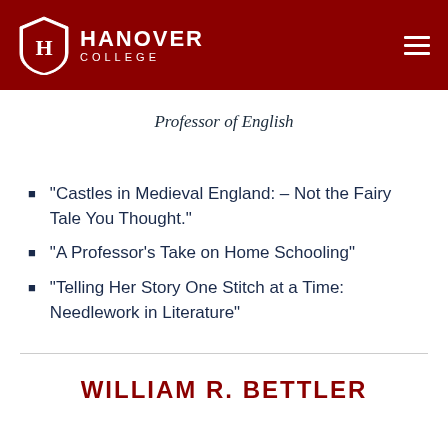HANOVER COLLEGE
Professor of English
“Castles in Medieval England: – Not the Fairy Tale You Thought.”
“A Professor’s Take on Home Schooling”
“Telling Her Story One Stitch at a Time: Needlework in Literature”
WILLIAM R. BETTLER